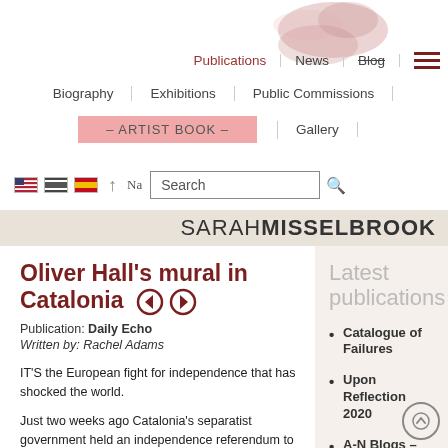Publications | News | Blog | Biography | Exhibitions | Public Commissions | – ARTIST BOOK – | Gallery
[Figure (screenshot): Search bar with flag icons and navigation label]
SARAH MISSELBROOK
Oliver Hall's mural in Catalonia
Publication: Daily Echo
Written by: Rachel Adams
IT'S the European fight for independence that has shocked the world.
Just two weeks ago Catalonia's separatist government held an independence referendum to break away from Spain.
Latest publications
Catalogue of Failures
Upon Reflection 2020
A-N Blogs – Book Review
Dark Mountain: